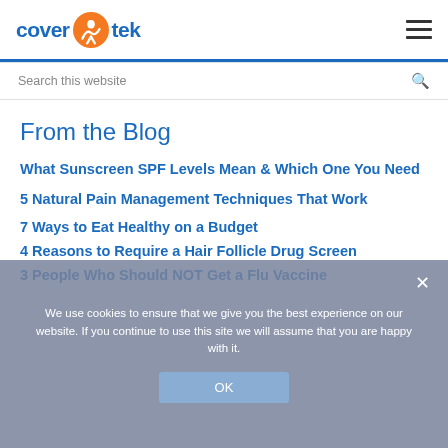cover tek
Search this website
From the Blog
What Sunscreen SPF Levels Mean & Which One You Need
5 Natural Pain Management Techniques That Work
7 Ways to Eat Healthy on a Budget
4 Reasons to Require a Hair Follicle Drug Screen
3 People Who Should NOT Get a Flu Vaccine
We use cookies to ensure that we give you the best experience on our website. If you continue to use this site we will assume that you are happy with it.